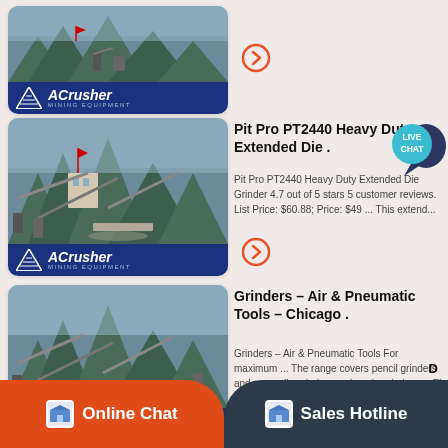[Figure (photo): ACrusher Mining Equipment product card with mine photo, card 1]
[Figure (photo): ACrusher Mining Equipment product card with mine photo, card 2]
Pit Pro PT2440 Heavy Duty Extended Die .
Pit Pro PT2440 Heavy Duty Extended Die Grinder 4.7 out of 5 stars 5 customer reviews. List Price: $60.88; Price: $49 ... This extend...
[Figure (photo): ACrusher Mining Equipment product card with mine photo, card 3]
Grinders – Air & Pneumatic Tools – Chicago .
Grinders – Air & Pneumatic Tools For maximum ... The range covers pencil grinders and many die grinders and angle grinders ... 7" Heavy...
Online Chat
Sales Hotline